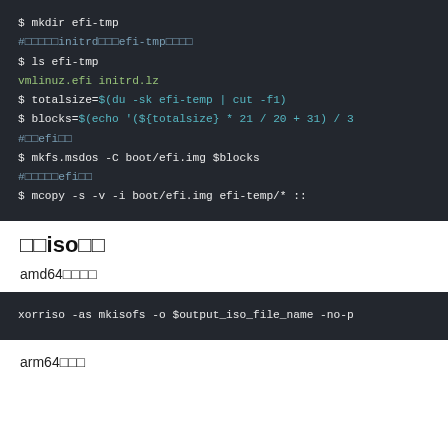[Figure (screenshot): Terminal/code block showing shell commands for creating EFI image: mkdir efi-tmp, ls efi-tmp (vmlinuz.efi initrd.lz), totalsize and blocks variable assignments, mkfs.msdos and mcopy commands, with Japanese comments]
□□iso□□
amd64□□□□
[Figure (screenshot): Terminal/code block showing: xorriso -as mkisofs -o $output_iso_file_name -no-p...]
arm64□□□